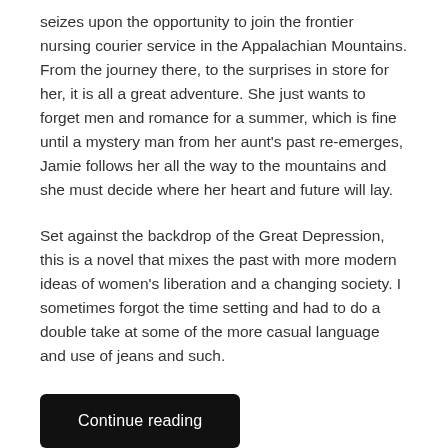seizes upon the opportunity to join the frontier nursing courier service in the Appalachian Mountains. From the journey there, to the surprises in store for her, it is all a great adventure. She just wants to forget men and romance for a summer, which is fine until a mystery man from her aunt's past re-emerges, Jamie follows her all the way to the mountains and she must decide where her heart and future will lay.
Set against the backdrop of the Great Depression, this is a novel that mixes the past with more modern ideas of women's liberation and a changing society. I sometimes forgot the time setting and had to do a double take at some of the more casual language and use of jeans and such.
Continue reading